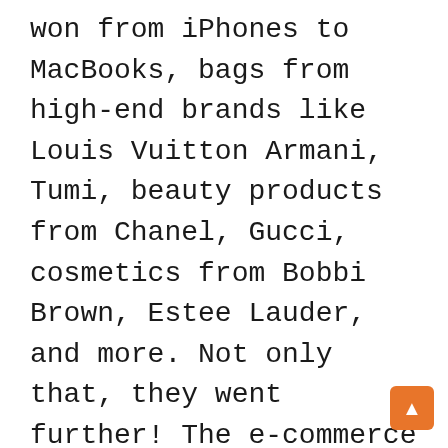won from iPhones to MacBooks, bags from high-end brands like Louis Vuitton Armani, Tumi, beauty products from Chanel, Gucci, cosmetics from Bobbi Brown, Estee Lauder, and more. Not only that, they went further! The e-commerce website will also offer freebies such as hotel and flight options! With so many prompts, SHOTT seems to be home to some epic moments! Organize your visit because it could be the only place that immediately meets the needs of several celebrations, events or simply a relaxing space to spend time with friends and family. So go ahead, take your best shot only at SHOTT! Address – 4th Floor, Crystal Point Mall, New Link Rd, Sahayog Nagar, Bhudargarh Colony, Andheri West, Mumbai, Maharashtra 400053.